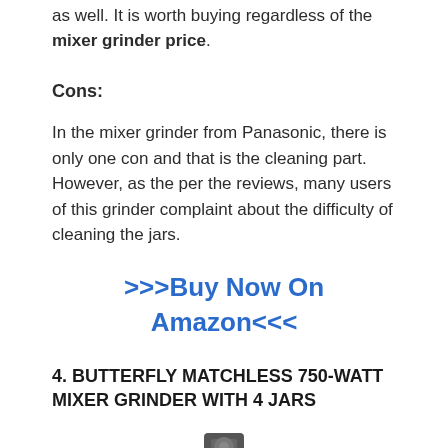as well. It is worth buying regardless of the mixer grinder price.
Cons:
In the mixer grinder from Panasonic, there is only one con and that is the cleaning part. However, as the per the reviews, many users of this grinder complaint about the difficulty of cleaning the jars.
>>>Buy Now On Amazon<<<
4. BUTTERFLY MATCHLESS 750-WATT MIXER GRINDER WITH 4 JARS
[Figure (photo): Bottom portion of a mixer grinder product image]